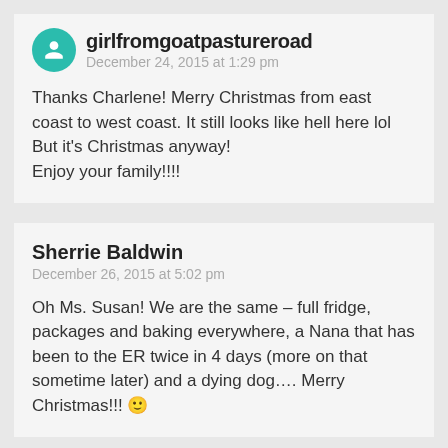girlfromgoatpastureroad
December 24, 2015 at 1:29 pm
Thanks Charlene! Merry Christmas from east coast to west coast. It still looks like hell here lol
But it's Christmas anyway!
Enjoy your family!!!!
Sherrie Baldwin
December 26, 2015 at 5:02 pm
Oh Ms. Susan! We are the same – full fridge, packages and baking everywhere, a Nana that has been to the ER twice in 4 days (more on that sometime later) and a dying dog…. Merry Christmas!!! 🙂